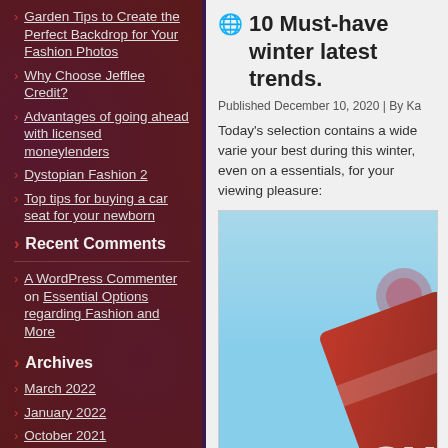Garden Tips to Create the Perfect Backdrop for Your Fashion Photos
Why Choose Jefflee Credit?
Advantages of going ahead with licensed moneylenders
Dystopian Fashion 2
Top tips for buying a car seat for your newborn
Recent Comments
A WordPress Commenter on Essential Options regarding Fashion and More
Archives
March 2022
January 2022
October 2021
March 2021
December 2020
October 2020
10 Must-have winter latest trends.
Published December 10, 2020 | By Ka
Today's selection contains a wide varie your best during this winter, even on a essentials, for your viewing pleasure:
[Figure (photo): A photo showing a red scarf or clothing item against a light blue background, with partial text 'su' visible]